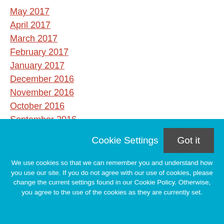May 2017
April 2017
March 2017
February 2017
January 2017
December 2016
November 2016
October 2016
September 2016
August 2016
July 2016
Cookie Settings
Got it
We use cookies so that we can remember you and understand how you use our site. If you do not agree with our use of cookies, please change the current settings found in our Cookie Policy. Otherwise, you agree to the use of the cookies as they are currently set.